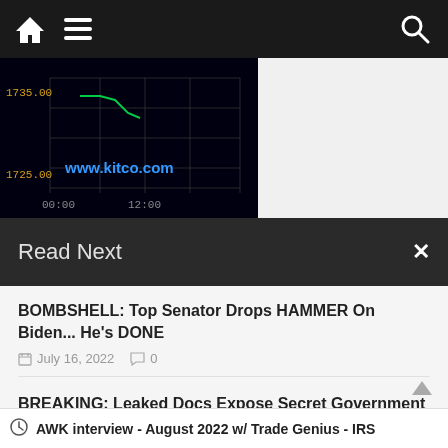Navigation bar with home, menu, and search icons
[Figure (continuous-plot): Kitco gold price chart showing price around 1725.00-1735.00, with time axis from 00:00 to 12:00, watermark www.kitco.com, dark background]
Read Next
BOMBSHELL: Top Senator Drops HAMMER On Biden... He’s DONE
July 16, 2022   0
BREAKING: Leaked Docs Expose Secret Government Covid Censorship Scheme
August 7, 2022   0
AWK interview - August 2022 w/ Trade Genius - IRS